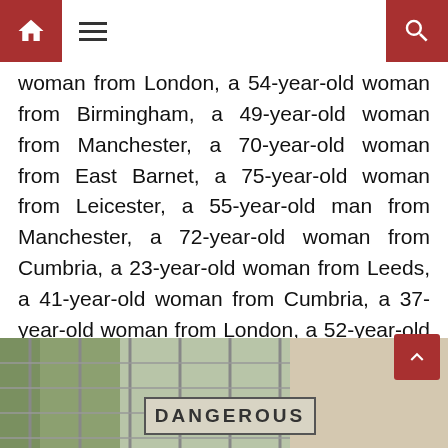Navigation header with home icon, menu icon, and search icon
woman from London, a 54-year-old woman from Birmingham, a 49-year-old woman from Manchester, a 70-year-old woman from East Barnet, a 75-year-old woman from Leicester, a 55-year-old man from Manchester, a 72-year-old woman from Cumbria, a 23-year-old woman from Leeds, a 41-year-old woman from Cumbria, a 37-year-old woman from London, a 52-year-old woman from Scarborough and a 51-year-old woman from Basingstoke.
[Figure (photo): Photo of a chain-link fence with a 'DANGEROUS' sign visible, outdoor setting with vegetation in background]